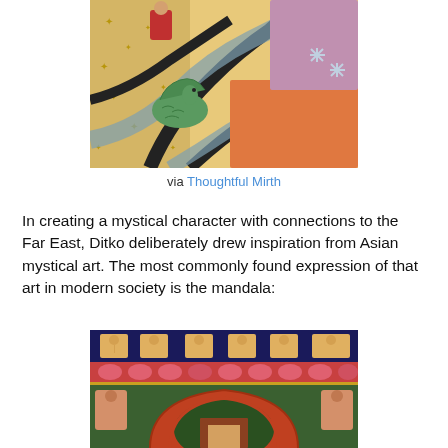[Figure (illustration): Comic book style mystical art with swirling colorful abstract patterns, featuring a green bird-like creature, a red-robed figure, stars, and flowing black ribbons against orange, blue, purple, and patterned backgrounds]
via Thoughtful Mirth
In creating a mystical character with connections to the Far East, Ditko deliberately drew inspiration from Asian mystical art.  The most commonly found expression of that art in modern society is the mandala:
[Figure (photo): A mandala painting — a Tibetan thangka-style artwork with seated Buddha figures arranged around a central architectural structure with arches, in red, green, blue, gold, and pink tones]